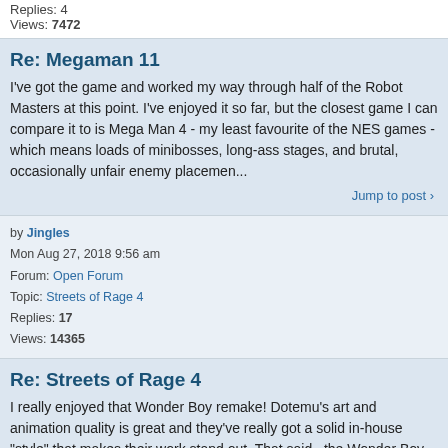Replies: 4
Views: 7472
Re: Megaman 11
I've got the game and worked my way through half of the Robot Masters at this point. I've enjoyed it so far, but the closest game I can compare it to is Mega Man 4 - my least favourite of the NES games - which means loads of minibosses, long-ass stages, and brutal, occasionally unfair enemy placemen...
Jump to post
by Jingles
Mon Aug 27, 2018 9:56 am
Forum: Open Forum
Topic: Streets of Rage 4
Replies: 17
Views: 14365
Re: Streets of Rage 4
I really enjoyed that Wonder Boy remake! Dotemu's art and animation quality is great and they've really got a solid in-house "style" that makes their work stand out. That said , the Wonder Boy remake had very little in terms of new gameplay content, so we'll just have to see whether these guys can b...
Jump to post
by Jingles
Wed Aug 22, 2018 4:18 pm
Forum: Open Forum
Topic: Everybody Super Sonic failing... (Team Sonic Racing)